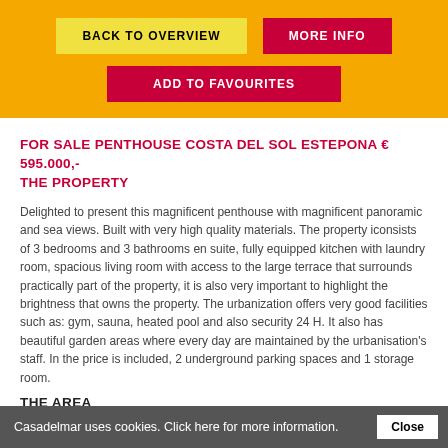BACK TO OVERVIEW | MORE INFO | ADD TO FAVOURITES
FOR SALE PENTHOUSE COSTA DEL SOL ESTEPONA € 595.000,- THE PROPERTY
Delighted to present this magnificent penthouse with magnificent panoramic and sea views. Built with very high quality materials. The property iconsists of 3 bedrooms and 3 bathrooms en suite, fully equipped kitchen with laundry room, spacious living room with access to the large terrace that surrounds practically part of the property, it is also very important to highlight the brightness that owns the property. The urbanization offers very good facilities such as: gym, sauna, heated pool and also security 24 H. It also has beautiful garden areas where every day are maintained by the urbanisation's staff. In the price is included, 2 underground parking spaces and 1 storage room.
THE AREA
Casadelmar uses cookies. Click here for more information. Close